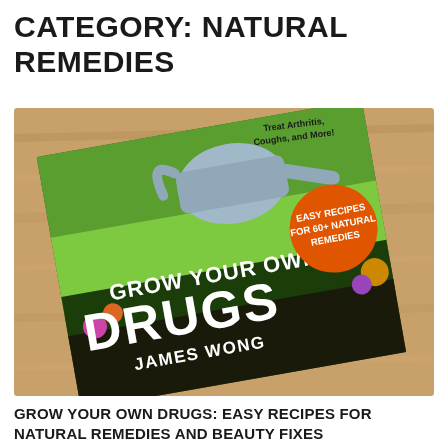CATEGORY: NATURAL REMEDIES
[Figure (photo): Photo of the book 'Grow Your Own Drugs' by James Wong, shown at an angle on a wooden surface. The book cover features a watering can, garden plants, flowers, and an orange circular badge reading 'Easy Recipes for 60+ Natural Remedies'. The subtitle text on the cover reads 'Treat Arthritis, Coughs, and More!']
GROW YOUR OWN DRUGS: EASY RECIPES FOR NATURAL REMEDIES AND BEAUTY FIXES